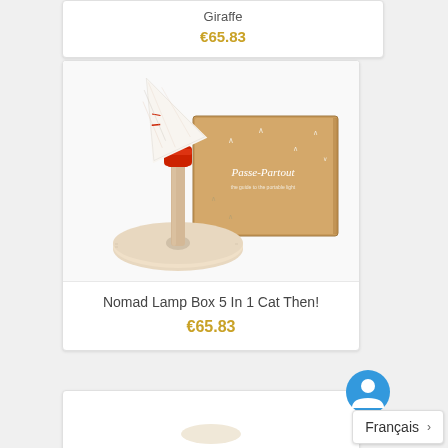Giraffe
€65.83
[Figure (photo): Product photo of Nomad Lamp Box 5 In 1 Cat Then! showing a lamp with white/printed shade on a wooden base and a brown cardboard box labeled Passe-Partout]
Nomad Lamp Box 5 In 1 Cat Then!
€65.83
Français